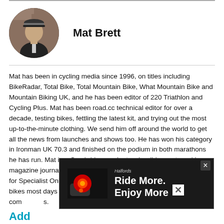[Figure (photo): Circular portrait photo of Mat Brett wearing a cycling cap and jersey]
Mat Brett
Mat has been in cycling media since 1996, on titles including BikeRadar, Total Bike, Total Mountain Bike, What Mountain Bike and Mountain Biking UK, and he has been editor of 220 Triathlon and Cycling Plus. Mat has been road.cc technical editor for over a decade, testing bikes, fettling the latest kit, and trying out the most up-to-the-minute clothing. We send him off around the world to get all the news from launches and shows too. He has won his category in Ironman UK 70.3 and finished on the podium in both marathons he has run. Mat is a Cambridge graduate who did a post-grad in magazine journalism, and he is a winner of the Cycling Media Award for Specialist Online Writer. Now over 50, he's riding road and gravel bikes most days for fun and fitness rather than training for competitions.
[Figure (advertisement): Ad banner with red bike light and text 'Ride More. Enjoy More']
Add